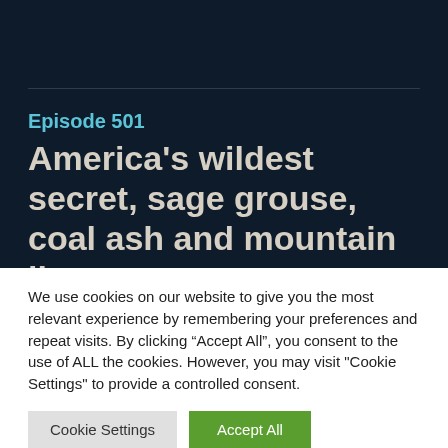Episode 501
America’s wildest secret, sage grouse, coal ash and mountain lions
We use cookies on our website to give you the most relevant experience by remembering your preferences and repeat visits. By clicking “Accept All”, you consent to the use of ALL the cookies. However, you may visit "Cookie Settings" to provide a controlled consent.
Cookie Settings
Accept All